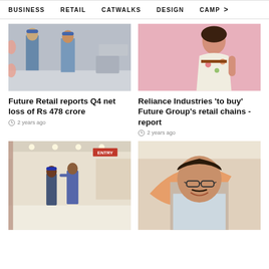BUSINESS   RETAIL   CATWALKS   DESIGN   CAMP >
[Figure (photo): Two security guards in blue uniforms standing in a retail store]
[Figure (photo): Young woman in a floral dress posing against a pink background]
Future Retail reports Q4 net loss of Rs 478 crore
2 years ago
Reliance Industries 'to buy' Future Group's retail chains - report
2 years ago
[Figure (photo): Security guard checking temperature at mall entry with ENTRY sign visible]
[Figure (photo): Man in light blue shirt smiling, standing in front of an orange bird logo]